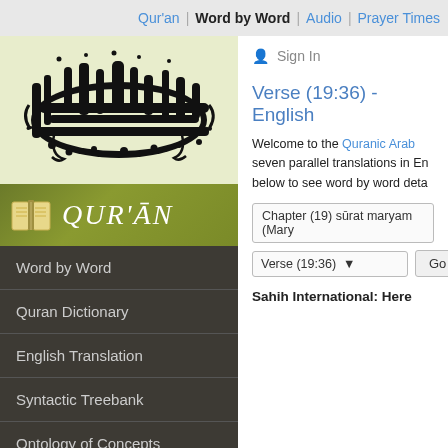Qur'an | Word by Word | Audio | Prayer Times
[Figure (illustration): Arabic calligraphy in black on light yellow-green background reading Islamic declaration of faith (Shahada)]
[Figure (logo): Qur'an website logo banner with open book icon and stylized text QUR'AN on olive/green gradient background]
Word by Word
Quran Dictionary
English Translation
Syntactic Treebank
Ontology of Concepts
Documentation
Quranic Grammar
Message Board
Sign In
Verse (19:36) - English
Welcome to the Quranic Arab seven parallel translations in En below to see word by word deta
Chapter (19) sūrat maryam (Mary
Verse (19:36)
Sahih International: Here